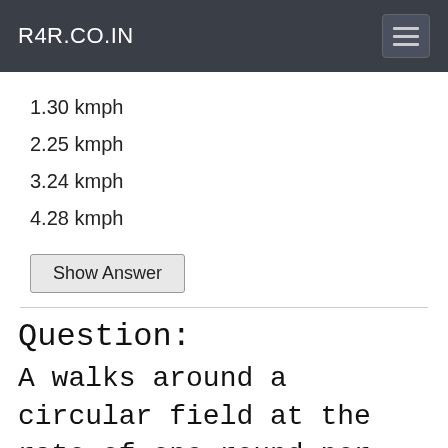R4R.CO.IN
1.30 kmph
2.25 kmph
3.24 kmph
4.28 kmph
Show Answer
Question:
A walks around a circular field at the rate of one round per hour while B runs